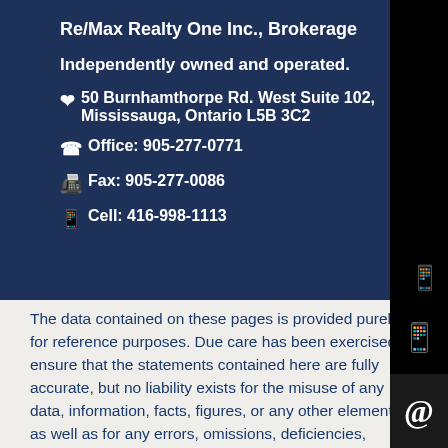Re/Max Realty One Inc., Brokerage
Independently owned and operated.
📍 50 Burnhamthorpe Rd. West Suite 102, Mississauga, Ontario L5B 3C2
Office: 905-277-0771
Fax: 905-277-0086
Cell: 416-998-1113
The data contained on these pages is provided purely for reference purposes. Due care has been exercised to ensure that the statements contained here are fully accurate, but no liability exists for the misuse of any data, information, facts, figures, or any other elements; as well as for any errors, omissions, deficiencies, defects, or typos